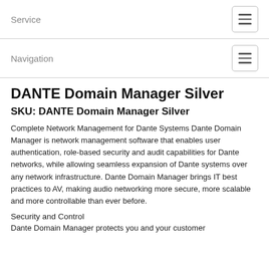Service
Navigation
DANTE Domain Manager Silver
SKU: DANTE Domain Manager Silver
Complete Network Management for Dante Systems Dante Domain Manager is network management software that enables user authentication, role-based security and audit capabilities for Dante networks, while allowing seamless expansion of Dante systems over any network infrastructure. Dante Domain Manager brings IT best practices to AV, making audio networking more secure, more scalable and more controllable than ever before.
Security and Control
Dante Domain Manager protects you and your customer